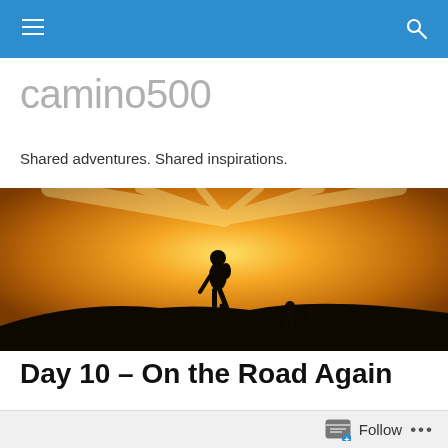camino500 navigation bar
camino500
Shared adventures. Shared inspirations.
[Figure (photo): Silhouette of a person walking with two others in the background against a golden sunset sky, landscape scene suggesting pilgrimage or hiking.]
Day 10 – On the Road Again
This will be a very short post with no pictures.  I hope to do much better tomorrow!  We left Leon this morning and
Follow ...